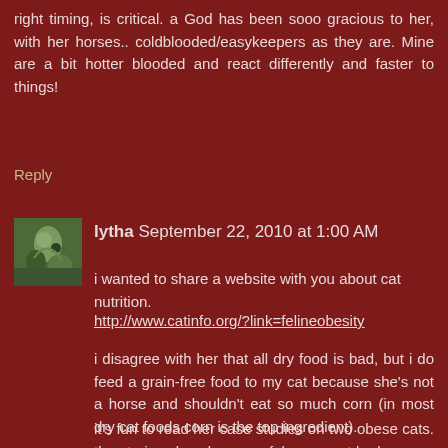right timing, is critical. a God has been sooo gracious to her, with her horses.. coldblooded/easykeepers as they are. Mine are a bit hotter blooded and react differently and faster to things!
Reply
lytha  September 22, 2010 at 1:00 AM
[Figure (photo): Small avatar photo of a person with a horse outdoors]
i wanted to share a website with you about cat nutrition.
http://www.catinfo.org/?link=felineobesity
i disagree with her that all dry food is bad, but i do feed a grain-free food to my cat because she's not a horse and shouldn't eat so much corn (in most dry cat foods corn is the top ingredient).
it's fun to read her case studies on two obese cats. the stories show how careful one must be because of liver disease (my old cat stopped eating when we went on a trip, and got fatty liver disease and had to be forcefed for weeks